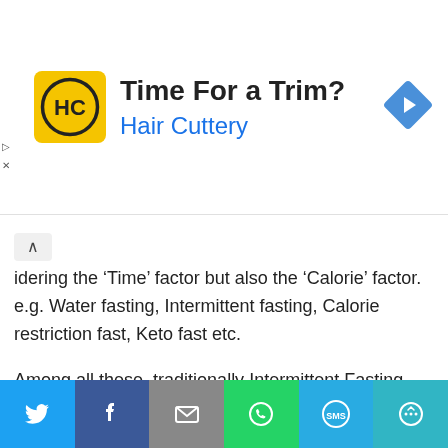[Figure (screenshot): Hair Cuttery advertisement banner with yellow logo showing HC letters, text 'Time For a Trim?' and 'Hair Cuttery' in blue, and a blue navigation diamond icon on the right]
idering the ‘Time’ factor but also the ‘Calorie’ factor. e.g. Water fasting, Intermittent fasting, Calorie restriction fast, Keto fast etc.
Among all these, traditionally Intermittent Fasting has been practised most in which one needs to refrain from food on a regular time interval with consistency.
Intermittent fasting can be done in following ways :
[Figure (infographic): Social share bar with Twitter, Facebook, Email, WhatsApp, SMS, and More buttons]